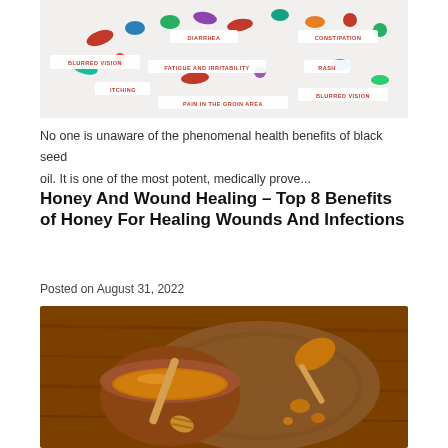[Figure (photo): Photo of colorful pills and capsules scattered on a white surface with red text labels showing medication side effects like BLURRED VISION, DIARRHEA, CONSTIPATION, FATIGUE AND IRRITABILITY, RASH, ITCHING, PAIN IN THE GROIN AREA, BLURRED VISION]
No one is unaware of the phenomenal health benefits of black seed oil. It is one of the most potent, medically prove...
Honey And Wound Healing – Top 8 Benefits of Honey For Healing Wounds And Infections
Posted on August 31, 2022
[Figure (photo): Photo of honey in a wooden bowl with a honey dipper, a wooden spoon with honey, and honey droplets on a wooden surface]